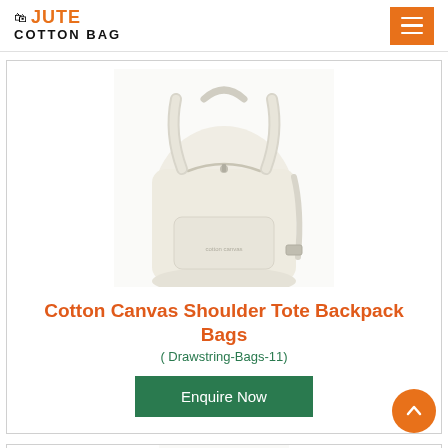JUTE COTTON BAG
[Figure (photo): Cream/off-white cotton canvas backpack with shoulder straps and zipper, on a white background]
Cotton Canvas Shoulder Tote Backpack Bags
( Drawstring-Bags-11)
Enquire Now
[Figure (photo): Partial view of a second bag product at the bottom of the page]